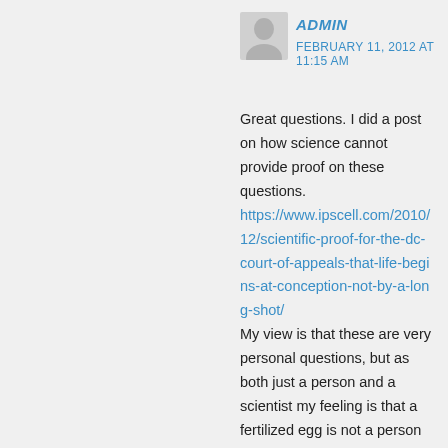[Figure (illustration): Gray avatar/placeholder user icon silhouette]
ADMIN
FEBRUARY 11, 2012 AT 11:15 AM
Great questions. I did a post on how science cannot provide proof on these questions. https://www.ipscell.com/2010/12/scientific-proof-for-the-dc-court-of-appeals-that-life-begins-at-conception-not-by-a-long-shot/ My view is that these are very personal questions, but as both just a person and a scientist my feeling is that a fertilized egg is not a person or a human being. This is my view, not a fact.
But I don't think 1 cell is a human being. To me that 1 cell = person is a very extreme view. Honestly, I am not sure when an embryo/fetus DOES becoms a living human being, but for me